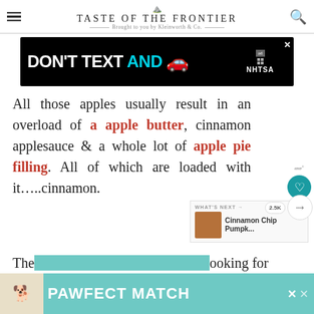TASTE OF THE FRONTIER — Brought to you by Kleinworth & Co.
[Figure (screenshot): Advertisement banner: 'DON'T TEXT AND' with a red car emoji and NHTSA ad badge on black background]
All those apples usually result in an overload of apple butter, cinnamon applesauce & a whole lot of apple pie filling. All of which are loaded with it…..cinnamon.
[Figure (screenshot): PAWFECT MATCH advertisement banner at bottom of page with dog image on teal background]
The...looking for